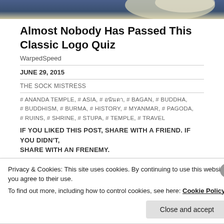[Figure (photo): Partial top image showing fabric/clothing in blue and cream tones]
Almost Nobody Has Passed This Classic Logo Quiz
WarpedSpeed
JUNE 29, 2015
THE SOCK MISTRESS
# ANANDA TEMPLE, # ASIA, # อนันดา, # BAGAN, # BUDDHA, # BUDDHISM, # BURMA, # HISTORY, # MYANMAR, # PAGODA, # RUINS, # SHRINE, # STUPA, # TEMPLE, # TRAVEL
IF YOU LIKED THIS POST, SHARE WITH A FRIEND. IF YOU DIDN'T, SHARE WITH AN FRENEMY.
FACEBOOK  TWITTER  PINTEREST  REDDIT
Privacy & Cookies: This site uses cookies. By continuing to use this website, you agree to their use.
To find out more, including how to control cookies, see here: Cookie Policy
Close and accept